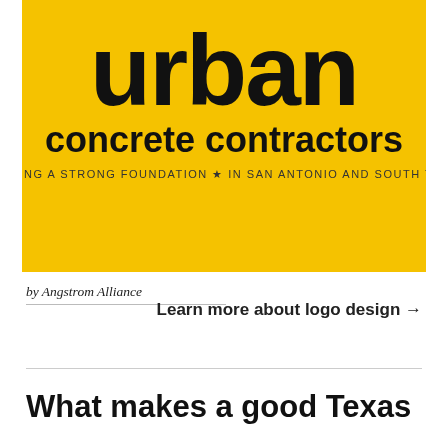[Figure (logo): Urban Concrete Contractors logo on yellow background. Large bold black text reading 'urban' on top, smaller bold text 'concrete contractors' below, and small caps text 'BUILDING A STRONG FOUNDATION ★ IN SAN ANTONIO AND SOUTH TEXAS' underneath.]
by Angstrom Alliance
Learn more about logo design →
What makes a good Texas